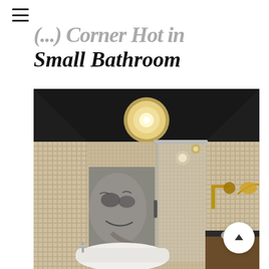Small Bathroom
[Figure (photo): Luxurious small bathroom interior with mosaic tile walls, a black painted ceiling, crystal chandelier, glass shower enclosure, freestanding bathtub with chrome fixtures, large monochromatic mural of a face on the back wall, and brass wall sconces on the right side. A circular scroll-up button overlay appears in the bottom right.]